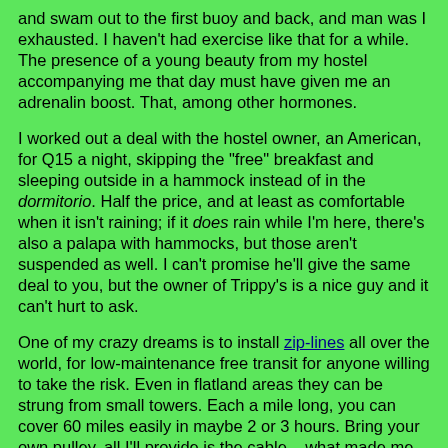and swam out to the first buoy and back, and man was I exhausted. I haven't had exercise like that for a while. The presence of a young beauty from my hostel accompanying me that day must have given me an adrenalin boost. That, among other hormones.
I worked out a deal with the hostel owner, an American, for Q15 a night, skipping the "free" breakfast and sleeping outside in a hammock instead of in the dormitorio. Half the price, and at least as comfortable when it isn't raining; if it does rain while I'm here, there's also a palapa with hammocks, but those aren't suspended as well. I can't promise he'll give the same deal to you, but the owner of Trippy's is a nice guy and it can't hurt to ask.
One of my crazy dreams is to install zip-lines all over the world, for low-maintenance free transit for anyone willing to take the risk. Even in flatland areas they can be strung from small towers. Each a mile long, you can cover 60 miles easily in maybe 2 or 3 hours. Bring your own pulley, all I'll provide is the cable... what made me think of this is a conversation on the way back to Pana the other day, in which an American guy, Bill, was telling me about Tulum, which he says is a great party town and is a good place to spend the full moon celebration on December 22nd